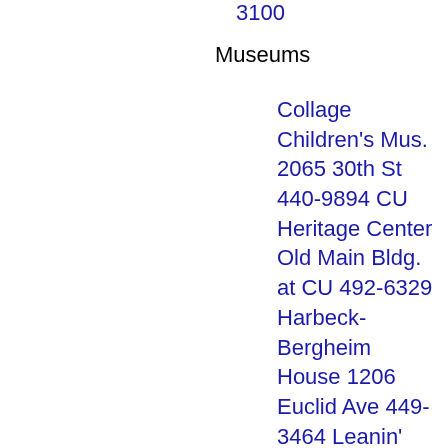3100
Museums
Collage Children's Mus. 2065 30th St 440-9894 CU Heritage Center Old Main Bldg. at CU 492-6329 Harbeck-Bergheim House 1206 Euclid Ave 449-3464 Leanin' Tree